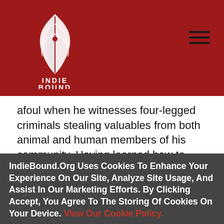[Figure (logo): IndieBound logo — stylized book/feather graphic in white on dark red background with text INDIE BOUND below]
afoul when he witnesses four-legged criminals stealing valuables from both animal and human members of his community. Having learned how to read, Homer models himself on his favorite newspaper comic detective, Dick Tracy—he's on the case!
IndieBound.Org Uses Cookies To Enhance Your Experience On Our Site, Analyze Site Usage, And Assist In Our Marketing Efforts. By Clicking Accept, You Agree To The Storing Of Cookies On Your Device. View Our Cookie Policy.
Give me more info
Accept all Cookies